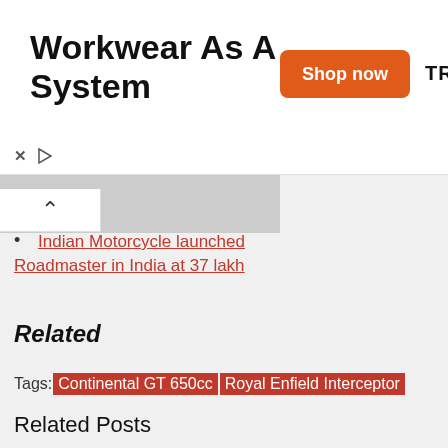[Figure (screenshot): Advertisement banner: 'Workwear As A System' with orange 'Shop now' button and TRUEWERK brand logo]
[Figure (photo): Partial photo of a motorcycle, partially visible at top]
Indian Motorcycle launched Roadmaster in India at 37 lakh
Related
Tags: Continental GT 650cc  Royal Enfield Interceptor
Related Posts
[Figure (photo): Partial photo of a blue motorcycle at the bottom of the page, Honda logo partially visible]